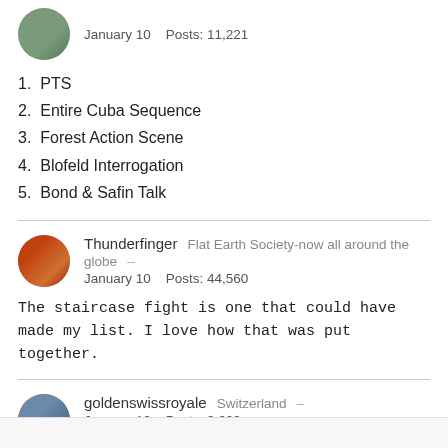January 10    Posts: 11,221
1. PTS
2. Entire Cuba Sequence
3. Forest Action Scene
4. Blofeld Interrogation
5. Bond & Safin Talk
Thunderfinger    Flat Earth Society-now all around the globe  –
January 10    Posts: 44,560
The staircase fight is one that could have made my list. I love how that was put together.
goldenswissroyale    Switzerland  –
January 10    Posts: 3,609